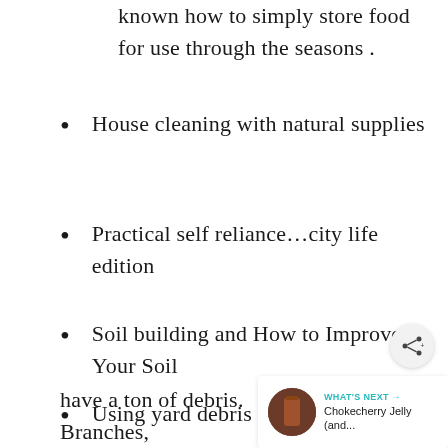known how to simply store food for use through the seasons .
House cleaning with natural supplies
Practical self reliance…city life edition
Soil building and How to Improve Your Soil
Using yard debris (post hul… have a ton of debris. Branches,